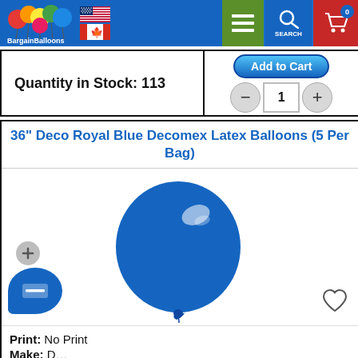BargainBalloons header with logo, US/Canada flags, menu, search, cart
Quantity in Stock: 113
Add to Cart | quantity controls: minus, 1, plus
36" Deco Royal Blue Decomex Latex Balloons (5 Per Bag)
[Figure (photo): Large round royal blue latex balloon with white highlight on a white background]
Print: No Print
Make: D...